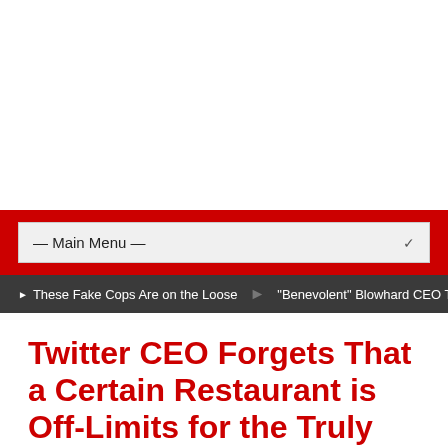— Main Menu —
These Fake Cops Are on the Loose  •  "Benevolent" Blowhard CEO Tak
Twitter CEO Forgets That a Certain Restaurant is Off-Limits for the Truly Woke